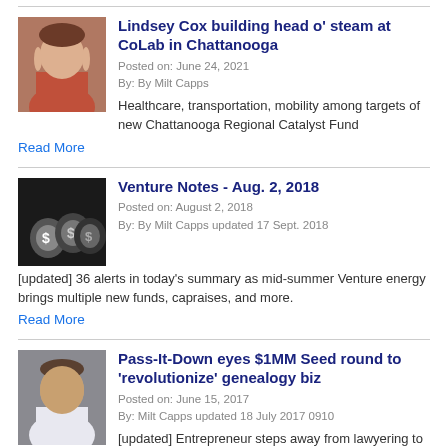[Figure (photo): Photo of Lindsey Cox, a woman with long dark hair, smiling]
Lindsey Cox building head o' steam at CoLab in Chattanooga
Posted on: June 24, 2021
By: By Milt Capps
Healthcare, transportation, mobility among targets of new Chattanooga Regional Catalyst Fund
Read More
[Figure (photo): Photo of money bags with dollar signs]
Venture Notes - Aug. 2, 2018
Posted on: August 2, 2018
By: By Milt Capps updated 17 Sept. 2018
[updated] 36 alerts in today's summary as mid-summer Venture energy brings multiple new funds, capraises, and more.
Read More
[Figure (photo): Photo of a man with dark hair, smiling, in a suit]
Pass-It-Down eyes $1MM Seed round to 'revolutionize' genealogy biz
Posted on: June 15, 2017
By: Milt Capps updated 18 July 2017 0910
[updated] Entrepreneur steps away from lawyering to disrupt personal history making and storytelling